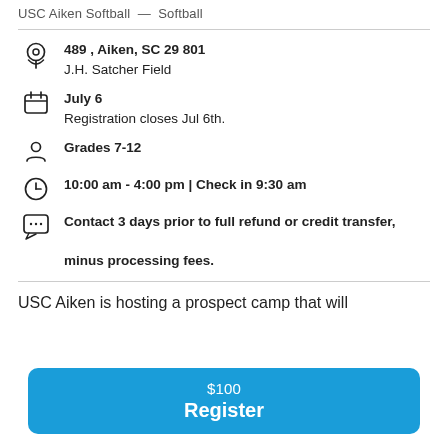USC Aiken Softball — Softball
489 , Aiken, SC 29801
J.H. Satcher Field
July 6
Registration closes Jul 6th.
Grades 7-12
10:00 am - 4:00 pm | Check in 9:30 am
Contact 3 days prior to full refund or credit transfer, minus processing fees.
USC Aiken is hosting a prospect camp that will
$100
Register